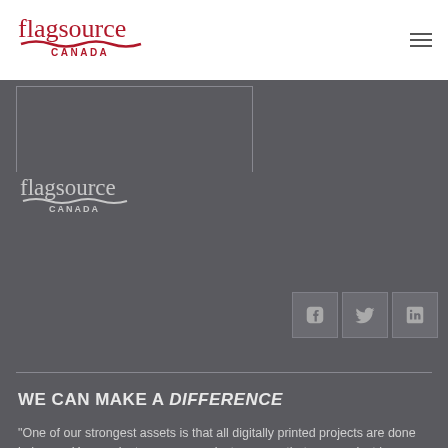[Figure (logo): Flagsource Canada logo in red on white header bar, with wave graphic and CANADA text]
[Figure (logo): Flagsource Canada logo in grey on dark background section, with wave graphic and CANADA text]
[Figure (infographic): Three social media icon boxes: Facebook (f), Twitter (bird), LinkedIn (in) on dark background]
WE CAN MAKE A DIFFERENCE
"One of our strongest assets is that all digitally printed projects are done in house. Your project manager works to ensure that your project is delivered on time, on spec and on budget."